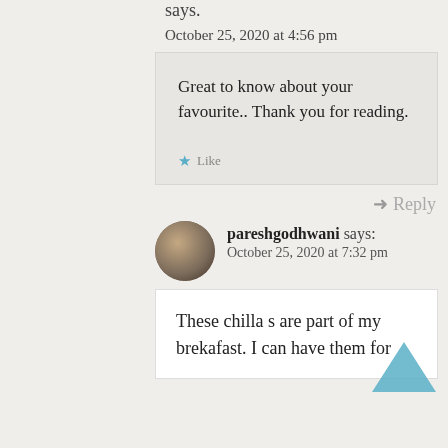says.
October 25, 2020 at 4:56 pm
Great to know about your favourite.. Thank you for reading.
Like
Reply
pareshgodhwani says:
October 25, 2020 at 7:32 pm
These chilla s are part of my brekafast. I can have them for